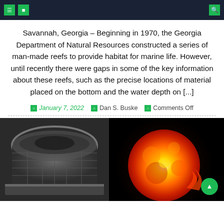navigation header with icons
Savannah, Georgia – Beginning in 1970, the Georgia Department of Natural Resources constructed a series of man-made reefs to provide habitat for marine life. However, until recently there were gaps in some of the key information about these reefs, such as the precise locations of material placed on the bottom and the water depth on [...]
January 7, 2022  Dan S. Buske  Comments Off
[Figure (photo): Black and white photo of a tokamak or large industrial circular chamber interior]
[Figure (photo): Infrared or false-color image of the sun showing solar flares and surface activity in orange and red]